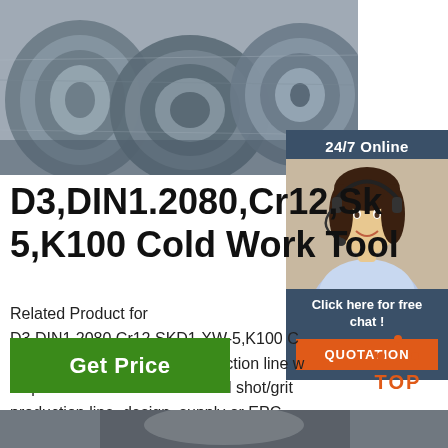[Figure (photo): Steel wire coils/rods stacked together, metallic gray color]
[Figure (photo): Customer service representative with headset, 24/7 Online chat widget with dark blue background, orange QUOTATION button]
D3,DIN1.2080,Cr12,Sk5,K100 Cold Work Tool
Related Product for D3,DIN1.2080,Cr12,SKD1,XW-5,K100 Cold Work Tool Steel steel shot/grit production line we help customer to build the steel shot/grit production line. design, supply or EPC.
[Figure (other): Green Get Price button]
[Figure (other): Orange TOP navigation button with dot triangle logo]
[Figure (photo): Bottom partial steel product image]